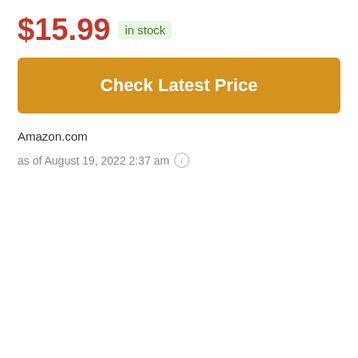$15.99 in stock
Check Latest Price
Amazon.com
as of August 19, 2022 2:37 am